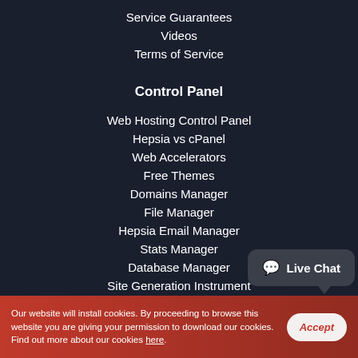Service Guarantees
Videos
Terms of Service
Control Panel
Web Hosting Control Panel
Hepsia vs cPanel
Web Accelerators
Free Themes
Domains Manager
File Manager
Hepsia Email Manager
Stats Manager
Database Manager
Site Generation Instrument
Website Installer
Framework Installer
Our website will install cookies. By proceeding to browse this website you are giving your permission to download our cookies. Find out more about our cookies here.